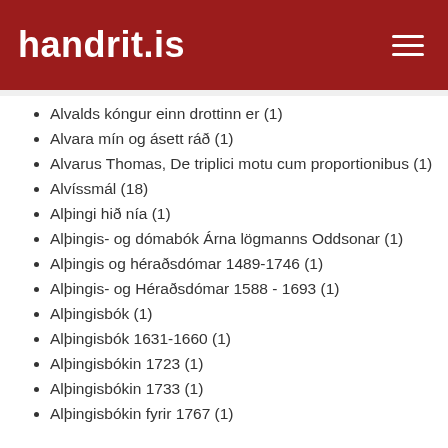handrit.is
Alvalds kóngur einn drottinn er (1)
Alvara mín og ásett ráð (1)
Alvarus Thomas, De triplici motu cum proportionibus (1)
Alvíssmál (18)
Alþingi hið nía (1)
Alþingis- og dómabók Árna lögmanns Oddsonar (1)
Alþingis og héraðsdómar 1489-1746 (1)
Alþingis- og Héraðsdómar 1588 - 1693 (1)
Alþingisbók (1)
Alþingisbók 1631-1660 (1)
Alþingisbókin 1723 (1)
Alþingisbókin 1733 (1)
Alþingisbókin fyrir 1767 (1)